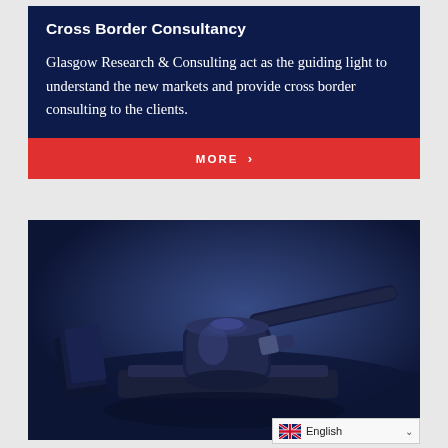Cross Border Consultancy
Glasgow Research & Consulting act as the guiding light to understand the new markets and provide cross border consulting to the clients.
MORE ›
[Figure (photo): Close-up photo of a wooden judge's gavel resting on its sound block, tinted in dark blue tones, suggesting a legal/judicial context.]
English